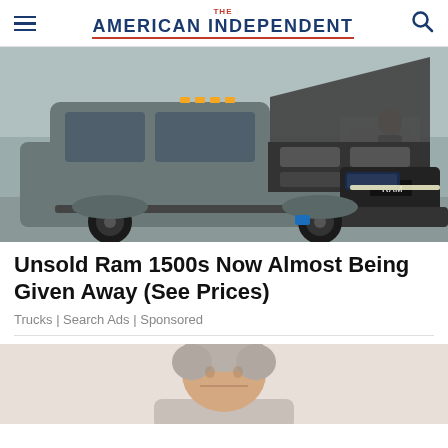THE AMERICAN INDEPENDENT
[Figure (photo): A gray Ram 1500 pickup truck with hood open, photographed in what appears to be a warehouse or auto show setting. A person is visible in the background.]
Unsold Ram 1500s Now Almost Being Given Away (See Prices)
Trucks | Search Ads | Sponsored
[Figure (photo): Partial photo of a gray-haired person, cropped at the bottom of the page.]